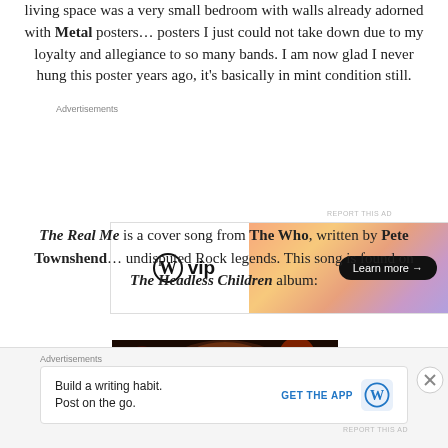living space was a very small bedroom with walls already adorned with Metal posters… posters I just could not take down due to my loyalty and allegiance to so many bands. I am now glad I never hung this poster years ago, it's basically in mint condition still.
[Figure (other): WordPress VIP advertisement banner with orange gradient and Learn more button]
The Real Me is a cover song from The Who, written by Pete Townshend… undisputed Rock legends. This song is found on The Headless Children album:
[Figure (photo): Album cover image showing a skull, partial view of The Headless Children album]
[Figure (other): Advertisement: Build a writing habit. Post on the go. GET THE APP with WordPress logo]